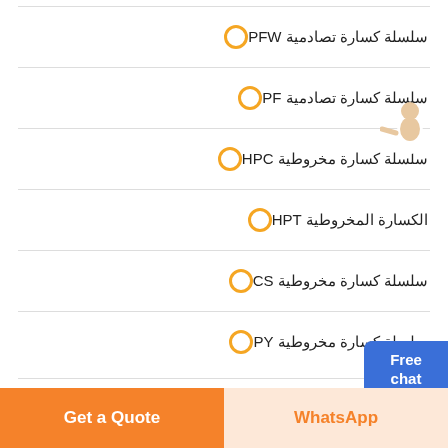سلسلة كسارة تصادمية PFW
سلسلة كسارة تصادمية PF
سلسلة كسارة مخروطية HPC
الكسارة المخروطية HPT
سلسلة كسارة مخروطية CS
سلسلة كسارة مخروطية PY
[Figure (illustration): Customer support agent illustration with Free chat button widget on the right side]
Get a Quote
WhatsApp